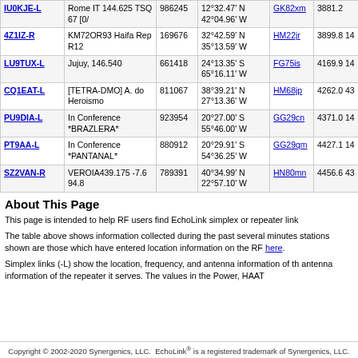| Callsign | Location | Node | Coordinates | Grid | Dist |
| --- | --- | --- | --- | --- | --- |
| IU0KJE-L | Rome IT 144.625 TSQ 67 [0/ | 986245 | 12°32.47' N 42°04.96' W | GK82xm | 3881.2 |
| 4Z1IZ-R | KM72OR93 Haifa Rep R12 | 169676 | 32°42.59' N 35°13.59' W | HM22jr | 3899.8 14 |
| LU9TUX-L | Jujuy, 146.540 | 661418 | 24°13.35' S 65°16.11' W | FG75is | 4169.9 14 |
| CQ1EAT-L | [TETRA-DMO] A. do Heroismo | 811067 | 38°39.21' N 27°13.36' W | HM68jp | 4262.0 43 |
| PU9DIA-L | In Conference *BRAZLERA* | 923954 | 20°27.00' S 55°46.00' W | GG29cn | 4371.0 14 |
| PT9AA-L | In Conference *PANTANAL* | 880912 | 20°29.91' S 54°36.25' W | GG29qm | 4427.1 14 |
| SZ2VAN-R | VEROIA439.175 -7.6 94.8 | 789391 | 40°34.99' N 22°57.10' W | HN80mn | 4456.6 43 |
About This Page
This page is intended to help RF users find EchoLink simplex or repeater link
The table above shows information collected during the past several minutes stations shown are those which have entered location information on the RF here.
Simplex links (-L) show the location, frequency, and antenna information of th antenna information of the repeater it serves. The values in the Power, HAAT
Copyright © 2002-2020 Synergenics, LLC.  EchoLink® is a registered trademark of Synergenics, LLC.